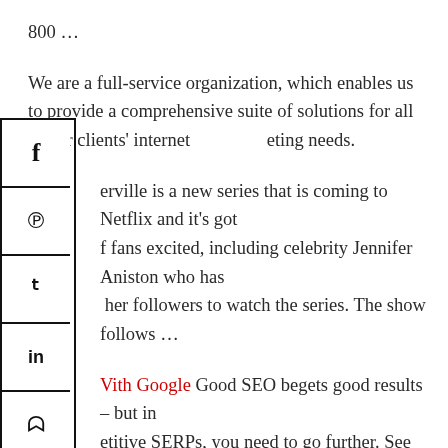800 …
We are a full-service organization, which enables us to provide a comprehensive suite of solutions for all of our clients' internet marketing needs.
[Figure (infographic): Vertical social media sharing button bar with icons for Facebook, Pinterest, Twitter, LinkedIn, StumbleUpon, Tumblr, and Reddit]
erville is a new series that is coming to Netflix and it's got f fans excited, including celebrity Jennifer Aniston who has her followers to watch the series. The show follows …
With Google Good SEO begets good results – but in etitive SERPs, you need to go further. See how experts e great SEO. Jul 07, 2020 · The Google SEO Checker is red by the official Google Lighthouse platform, designed to ove the quality of a web page. Enter your URL and get s to how Google sees